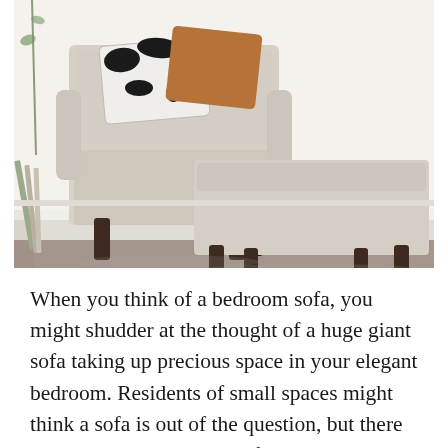[Figure (photo): A beige/cream upholstered armchair with dark wooden legs paired with a matching ottoman, sitting on a white fluffy rug. Black and white cowhide patterned pillow and an orange/rust pillow are on the chair. White walls and dark wood floor visible in the background.]
When you think of a bedroom sofa, you might shudder at the thought of a huge giant sofa taking up precious space in your elegant bedroom. Residents of small spaces might think a sofa is out of the question, but there are tiny options that even fit into a studio apartment. This small lounge chair from Anthropologie can